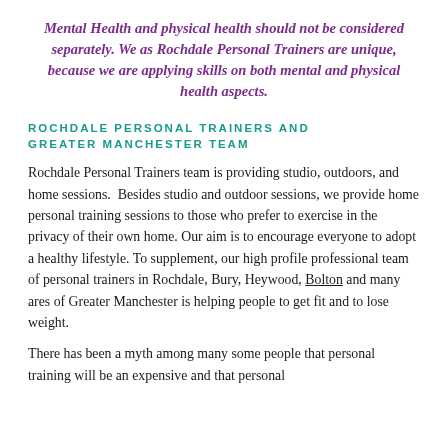Mental Health and physical health should not be considered separately. We as Rochdale Personal Trainers are unique, because we are applying skills on both mental and physical health aspects.
ROCHDALE PERSONAL TRAINERS AND GREATER MANCHESTER TEAM
Rochdale Personal Trainers team is providing studio, outdoors, and home sessions.  Besides studio and outdoor sessions, we provide home personal training sessions to those who prefer to exercise in the privacy of their own home. Our aim is to encourage everyone to adopt a healthy lifestyle. To supplement, our high profile professional team of personal trainers in Rochdale, Bury, Heywood, Bolton and many ares of Greater Manchester is helping people to get fit and to lose weight.
There has been a myth among many some people that personal training will be an expensive and that personal...